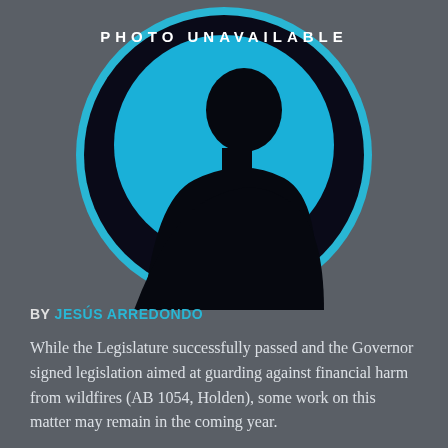[Figure (photo): Circular 'Photo Unavailable' placeholder image with a silhouette of a person against a cyan/blue background, surrounded by a black circle with a cyan border. White bold text reads 'PHOTO UNAVAILABLE' at the top of the circle.]
BY JESÚS ARREDONDO
While the Legislature successfully passed and the Governor signed legislation aimed at guarding against financial harm from wildfires (AB 1054, Holden), some work on this matter may remain in the coming year.